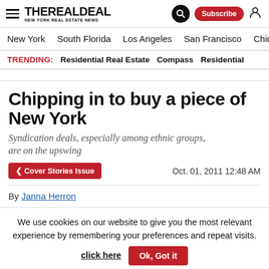The Real Deal — New York Real Estate News
New York | South Florida | Los Angeles | San Francisco | Chicago
TRENDING: Residential Real Estate  Compass  Residential
Chipping in to buy a piece of New York
Syndication deals, especially among ethnic groups, are on the upswing
Cover Stories Issue   Oct. 01, 2011 12:48 AM
By Janna Herron
We use cookies on our website to give you the most relevant experience by remembering your preferences and repeat visits. click here  Ok, Got it